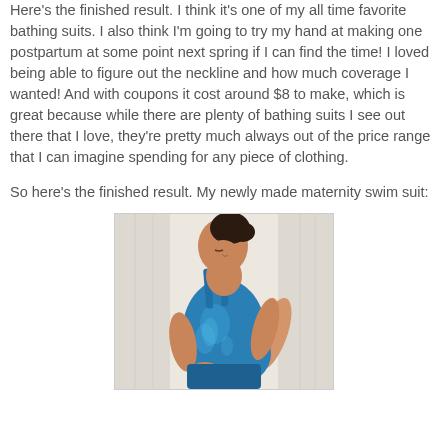Here's the finished result. I think it's one of my all time favorite bathing suits. I also think I'm going to try my hand at making one postpartum at some point next spring if I can find the time! I loved being able to figure out the neckline and how much coverage I wanted! And with coupons it cost around $8 to make, which is great because while there are plenty of bathing suits I see out there that I love, they're pretty much always out of the price range that I can imagine spending for any piece of clothing.
So here's the finished result. My newly made maternity swim suit:
[Figure (photo): A pregnant woman wearing a shiny blue/teal maternity swimsuit, looking down, photographed from the side in front of white curtains.]